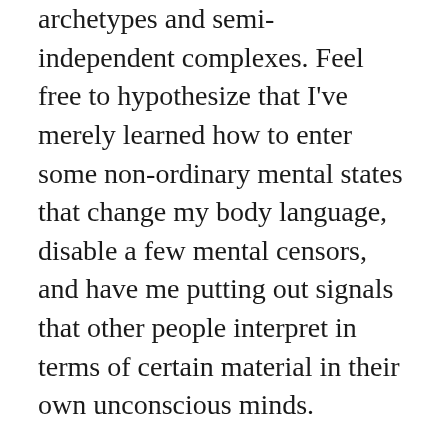archetypes and semi-independent complexes. Feel free to hypothesize that I've merely learned how to enter some non-ordinary mental states that change my body language, disable a few mental censors, and have me putting out signals that other people interpret in terms of certain material in their own unconscious minds.
Fine. You've explained it. Correctly, even. But you can't do it!
And as long as you stick with the sterile denotative language of